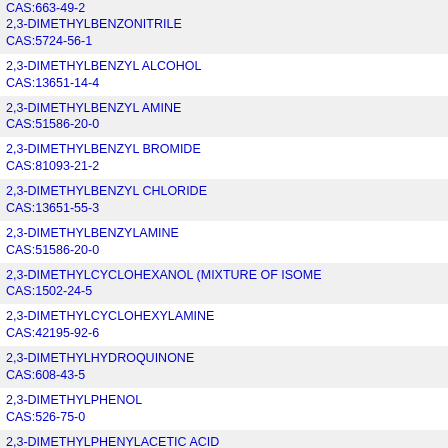CAS:663-49-2
2,3-DIMETHYLBENZONITRILE
CAS:5724-56-1
2,3-DIMETHYLBENZYL ALCOHOL
CAS:13651-14-4
2,3-DIMETHYLBENZYL AMINE
CAS:51586-20-0
2,3-DIMETHYLBENZYL BROMIDE
CAS:81093-21-2
2,3-DIMETHYLBENZYL CHLORIDE
CAS:13651-55-3
2,3-DIMETHYLBENZYLAMINE
CAS:51586-20-0
2,3-DIMETHYLCYCLOHEXANOL (MIXTURE OF ISOMERS)
CAS:1502-24-5
2,3-DIMETHYLCYCLOHEXYLAMINE
CAS:42195-92-6
2,3-DIMETHYLHYDROQUINONE
CAS:608-43-5
2,3-DIMETHYLPHENOL
CAS:526-75-0
2,3-DIMETHYLPHENYLACETIC ACID
CAS:30981-98-7
2,3-DIMETHYLPHENYLBORONIC ACID
CAS:183158-34-1
2,3-DIMETHYLTHIOPHENOL
CAS:18800-51-6
2,3-DINITROANILINE